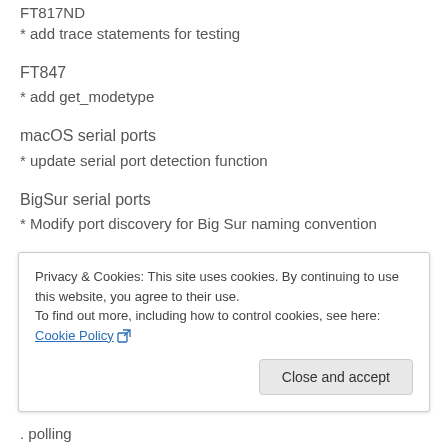FT817ND
* add trace statements for testing
FT847
* add get_modetype
macOS serial ports
* update serial port detection function
BigSur serial ports
* Modify port discovery for Big Sur naming convention
Break-in
* Add break-in selection for transceivers which support
Privacy & Cookies: This site uses cookies. By continuing to use this website, you agree to their use.
To find out more, including how to control cookies, see here: Cookie Policy
. polling